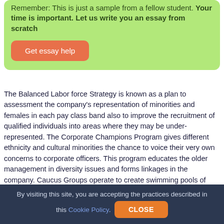Remember: This is just a sample from a fellow student. Your time is important. Let us write you an essay from scratch
Get essay help
The Balanced Labor force Strategy is known as a plan to assessment the company's representation of minorities and females in each pay class band also to improve the recruitment of qualified individuals into areas where they may be under-represented. The Corporate Champions Program gives different ethnicity and cultural minorities the chance to voice their very own concerns to corporate officers. This program educates the older management in diversity issues and forms linkages in the company. Caucus Groups operate to create swimming pools of qualified, successful personnel who can rise up through the administration ranks. The groups likewise serve as staff
By visiting this site, you are accepting the practices described in this Cookie Policy.
CLOSE